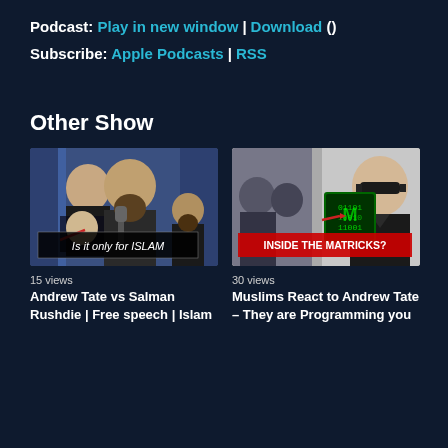Podcast: Play in new window | Download ()
Subscribe: Apple Podcasts | RSS
Other Show
[Figure (screenshot): YouTube thumbnail showing multiple people in a podcast setting with text 'Is it only for ISLAM']
[Figure (screenshot): YouTube thumbnail showing a man with sunglasses and green matrix-style book with text 'INSIDE THE MATRICKS?']
15 views
Andrew Tate vs Salman Rushdie | Free speech | Islam
30 views
Muslims React to Andrew Tate – They are Programming you